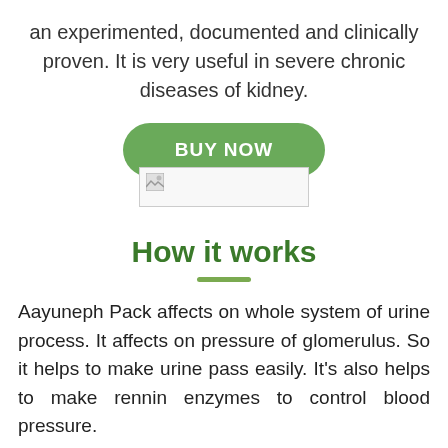an experimented, documented and clinically proven. It is very useful in severe chronic diseases of kidney.
[Figure (other): Green 'BUY NOW' pill-shaped button and a broken image placeholder below it]
How it works
Aayuneph Pack affects on whole system of urine process. It affects on pressure of glomerulus. So it helps to make urine pass easily. It's also helps to make rennin enzymes to control blood pressure.